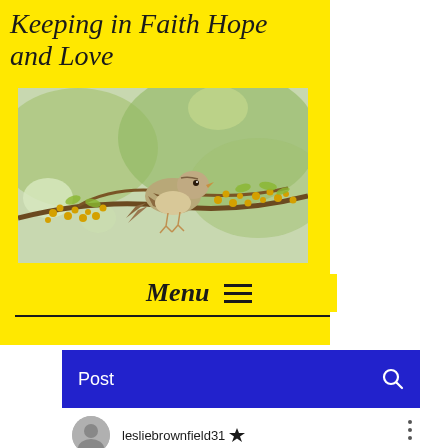Keeping in Faith Hope and Love
[Figure (photo): A sparrow-like bird perched on a branch with yellow-green flower buds, blurred green background]
Menu
Post
lesliebrownfield31 👑